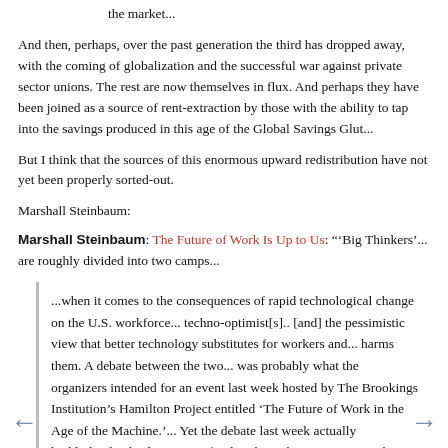the market...
And then, perhaps, over the past generation the third has dropped away, with the coming of globalization and the successful war against private sector unions. The rest are now themselves in flux. And perhaps they have been joined as a source of rent-extraction by those with the ability to tap into the savings produced in this age of the Global Savings Glut...
But I think that the sources of this enormous upward redistribution have not yet been properly sorted-out.
Marshall Steinbaum:
Marshall Steinbaum: The Future of Work Is Up to Us: "'Big Thinkers'... are roughly divided into two camps...
...when it comes to the consequences of rapid technological change on the U.S. workforce... techno-optimist[s].. [and] the pessimistic view that better technology substitutes for workers and... harms them. A debate between the two... was probably what the organizers intended for an event last week hosted by The Brookings Institution's Hamilton Project entitled 'The Future of Work in the Age of the Machine.'... Yet the debate last week actually highlighted a third position. If either the techno-optimists or the techno-pessimists are right, then we should see a major positive impact on